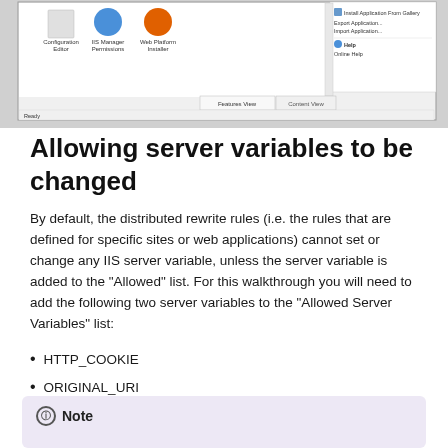[Figure (screenshot): IIS Manager screenshot showing Configuration Editor, IIS Manager Permissions, Web Platform Installer icons and a context menu with Install Application From Gallery, Export Application, Import Application, Help, Online Help options. Features View and Content View tabs at bottom. Ready status bar.]
Allowing server variables to be changed
By default, the distributed rewrite rules (i.e. the rules that are defined for specific sites or web applications) cannot set or change any IIS server variable, unless the server variable is added to the "Allowed" list. For this walkthrough you will need to add the following two server variables to the "Allowed Server Variables" list:
HTTP_COOKIE
ORIGINAL_URI
Note